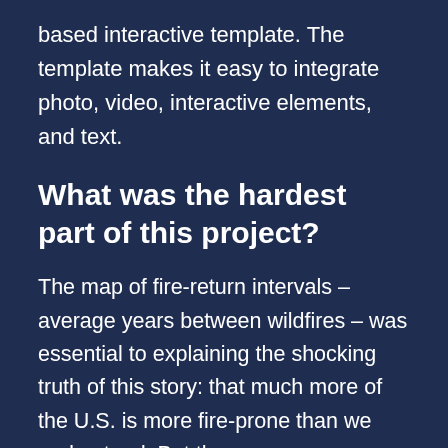based interactive template. The template makes it easy to integrate photo, video, interactive elements, and text.
What was the hardest part of this project?
The map of fire-return intervals – average years between wildfires – was essential to explaining the shocking truth of this story: that much more of the U.S. is more fire-prone than we understand. But the maps were extremely difficult to produce owing to the enormous size and complexity of the raw